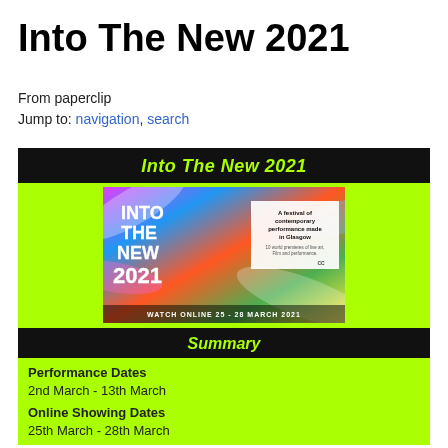Into The New 2021
From paperclip
Jump to: navigation, search
[Figure (infographic): Into The New 2021 festival poster with colorful swirling background, text reading INTO THE NEW 2021, WATCH ONLINE 25-28 MARCH 2021, A festival of contemporary performance made in Glasgow]
Summary
Performance Dates
2nd March - 13th March
Online Showing Dates
25th March - 28th March